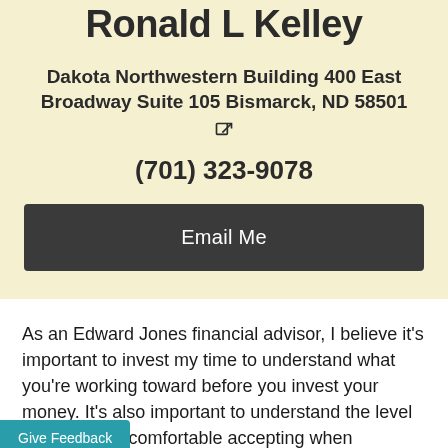Ronald L Kelley
Dakota Northwestern Building 400 East Broadway Suite 105 Bismarck, ND 58501
(701) 323-9078
Email Me
As an Edward Jones financial advisor, I believe it's important to invest my time to understand what you're working toward before you invest your money. It's also important to understand the level of risk you're comfortable accepting when investing so we can